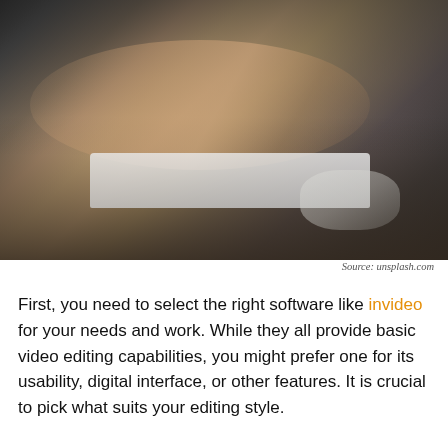[Figure (photo): A person typing on a white Apple-style keyboard on a wooden desk, viewed from above at an angle. The person is wearing a denim jacket. A mouse and cable are visible on the dark desk surface.]
Source: unsplash.com
First, you need to select the right software like invideo for your needs and work. While they all provide basic video editing capabilities, you might prefer one for its usability, digital interface, or other features. It is crucial to pick what suits your editing style.